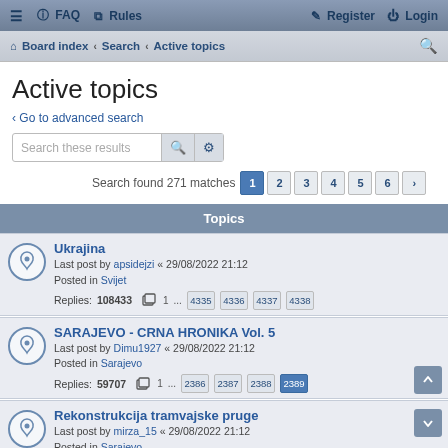≡ FAQ Rules | Register Login
Board index · Search · Active topics
Active topics
< Go to advanced search
Search these results
Search found 271 matches  1 2 3 4 5 6 >
Topics
Ukrajina
Last post by apsidejzi « 29/08/2022 21:12
Posted in Svijet
Replies: 108433
1 ... 4335 4336 4337 4338
SARAJEVO - CRNA HRONIKA Vol. 5
Last post by Dimu1927 « 29/08/2022 21:12
Posted in Sarajevo
Replies: 59707
1 ... 2386 2387 2388 2389
Rekonstrukcija tramvajske pruge
Last post by mirza_15 « 29/08/2022 21:12
Posted in Sarajevo